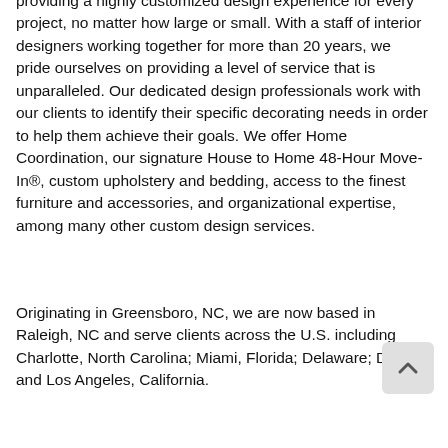providing a highly customized design experience for every project, no matter how large or small. With a staff of interior designers working together for more than 20 years, we pride ourselves on providing a level of service that is unparalleled. Our dedicated design professionals work with our clients to identify their specific decorating needs in order to help them achieve their goals. We offer Home Coordination, our signature House to Home 48-Hour Move-In®, custom upholstery and bedding, access to the finest furniture and accessories, and organizational expertise, among many other custom design services.
Originating in Greensboro, NC, we are now based in Raleigh, NC and serve clients across the U.S. including Charlotte, North Carolina; Miami, Florida; Delaware; DC; and Los Angeles, California.